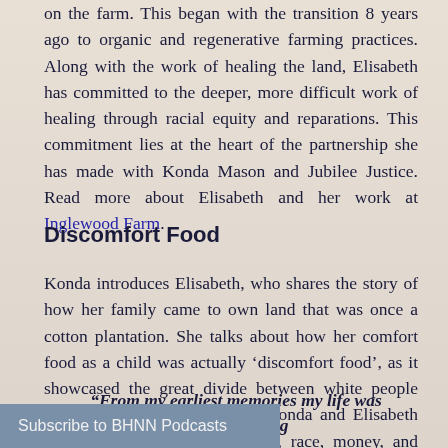on the farm. This began with the transition 8 years ago to organic and regenerative farming practices. Along with the work of healing the land, Elisabeth has committed to the deeper, more difficult work of healing through racial equity and reparations. This commitment lies at the heart of the partnership she has made with Konda Mason and Jubilee Justice. Read more about Elisabeth and her work at Inglewood Farm.
Discomfort Food
Konda introduces Elisabeth, who shares the story of how her family came to own land that was once a cotton plantation. She talks about how her comfort food as a child was actually ‘discomfort food’, as it showcased the great divide between white people and Black people in her life. Konda and Elisabeth discuss the intersection of land, race, money, and spirit, and how it is truly the story of America itself.
“From my earliest memories my life was understanding y was white,